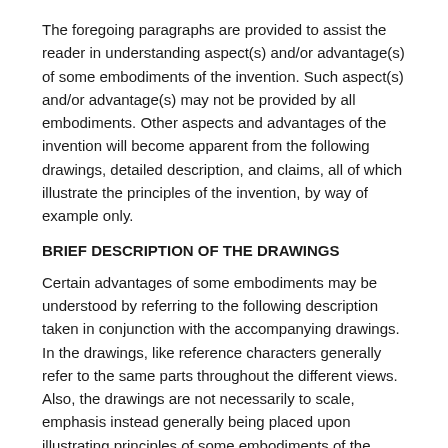The foregoing paragraphs are provided to assist the reader in understanding aspect(s) and/or advantage(s) of some embodiments of the invention. Such aspect(s) and/or advantage(s) may not be provided by all embodiments. Other aspects and advantages of the invention will become apparent from the following drawings, detailed description, and claims, all of which illustrate the principles of the invention, by way of example only.
BRIEF DESCRIPTION OF THE DRAWINGS
Certain advantages of some embodiments may be understood by referring to the following description taken in conjunction with the accompanying drawings. In the drawings, like reference characters generally refer to the same parts throughout the different views. Also, the drawings are not necessarily to scale, emphasis instead generally being placed upon illustrating principles of some embodiments of the invention.
FIG. 1 is a block diagram of an entity resolution tool, according to some embodiments;
FIG. 2 is a flowchart of an entity resolution method,